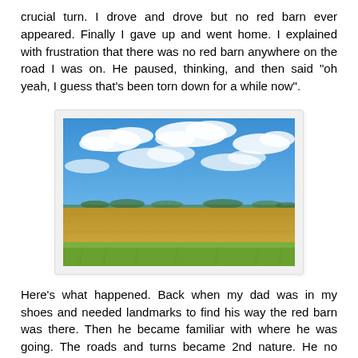crucial turn. I drove and drove but no red barn ever appeared. Finally I gave up and went home. I explained with frustration that there was no red barn anywhere on the road I was on. He paused, thinking, and then said "oh yeah, I guess that's been torn down for a while now".
[Figure (photo): Wide open flat field under a bright blue sky with scattered white clouds. The horizon shows a thin line of distant trees. The foreground has green and golden-brown grass.]
Here's what happened. Back when my dad was in my shoes and needed landmarks to find his way the red barn was there. Then he became familiar with where he was going. The roads and turns became 2nd nature. He no longer needed red barns to know where to turn. His familiarity with making the turn automatically made him forget the barn was long gone, just as my reliance as a passenger made me not pay attention either.